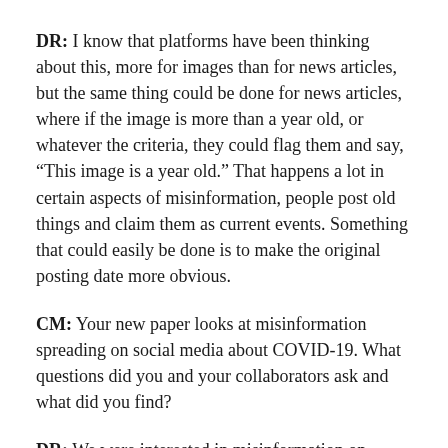DR: I know that platforms have been thinking about this, more for images than for news articles, but the same thing could be done for news articles, where if the image is more than a year old, or whatever the criteria, they could flag them and say, “This image is a year old.” That happens a lot in certain aspects of misinformation, people post old things and claim them as current events. Something that could easily be done is to make the original posting date more obvious.
CM: Your new paper looks at misinformation spreading on social media about COVID-19. What questions did you and your collaborators ask and what did you find?
DR: We were interested in misinformation on social media for a while — what you can do to reduce the spread of misinformation — and we mostly have been focusing on political misinformation, fake news, hyper-partisan news,